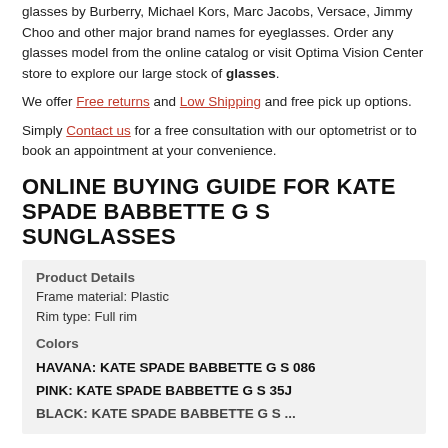glasses by Burberry, Michael Kors, Marc Jacobs, Versace, Jimmy Choo and other major brand names for eyeglasses. Order any glasses model from the online catalog or visit Optima Vision Center store to explore our large stock of glasses.
We offer Free returns and Low Shipping and free pick up options.
Simply Contact us for a free consultation with our optometrist or to book an appointment at your convenience.
ONLINE BUYING GUIDE FOR KATE SPADE BABBETTE G S SUNGLASSES
Product Details
Frame material: Plastic
Rim type: Full rim

Colors

HAVANA: KATE SPADE BABBETTE G S 086
PINK: KATE SPADE BABBETTE G S 35J
BLACK: KATE SPADE BABBETTE G S...